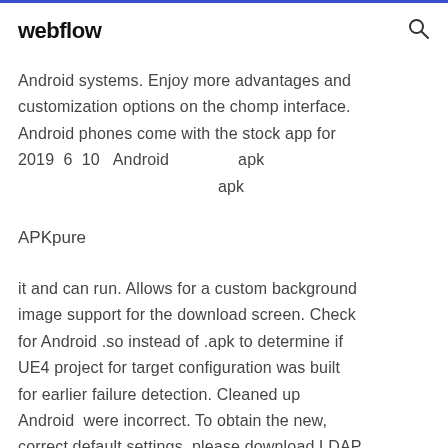webflow
Android systems. Enjoy more advantages and customization options on the chomp interface. Android phones come with the stock app for 2019  6  10   Android                apk
                                                   apk
APKpure
it and can run. Allows for a custom background image support for the download screen. Check for Android .so instead of .apk to determine if UE4 project for target configuration was built for earlier failure detection. Cleaned up Android  were incorrect. To obtain the new, correct default settings, please download LDAP